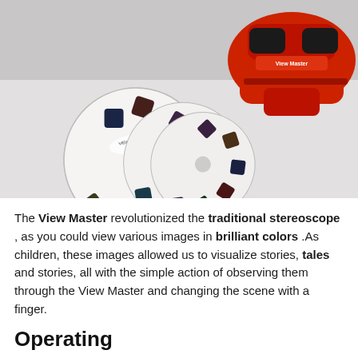[Figure (photo): A red View Master stereoscope viewer with multiple white circular reels fanned out in front of it on a light gray background.]
The View Master revolutionized the traditional stereoscope , as you could view various images in brilliant colors .As children, these images allowed us to visualize stories, tales and stories, all with the simple action of observing them through the View Master and changing the scene with a finger.
Operating